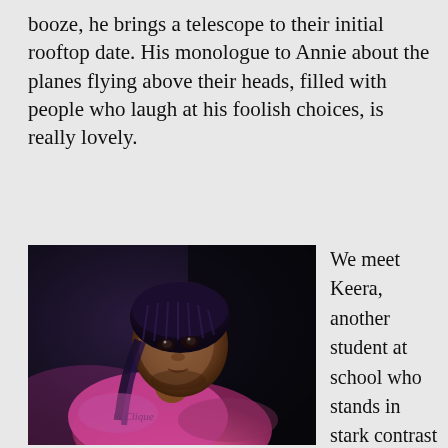booze, he brings a telescope to their initial rooftop date. His monologue to Annie about the planes flying above their heads, filled with people who laugh at his foolish choices, is really lovely.
[Figure (photo): A young Black woman wearing a pink sweatshirt with 'Clique' text, with braided hair, looking upward against a dark background.]
We meet Keera, another student at school who stands in stark contrast to the tough-talking Talisha and Margie. Played by a pitch-perfect